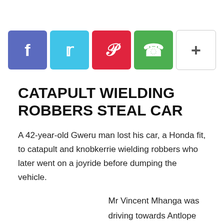[Figure (infographic): Social media share buttons: Facebook (blue-purple), Twitter (light blue), Pinterest (red), WhatsApp (green), and a More (+) button (white with border)]
CATAPULT WIELDING ROBBERS STEAL CAR
A 42-year-old Gweru man lost his car, a Honda fit, to catapult and knobkerrie wielding robbers who later went on a joyride before dumping the vehicle.
Mr Vincent Mhanga was driving towards Antlope Park resort on his way to his farm in the Ngamo area on the outskirts of Gweru